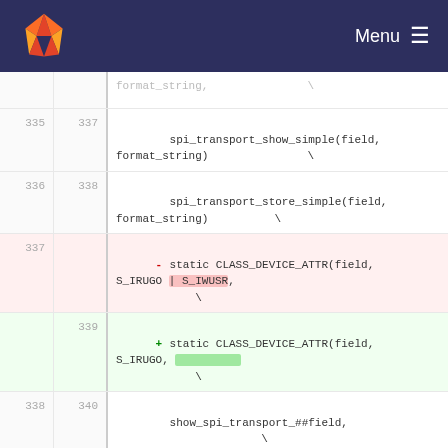Menu
[Figure (screenshot): GitLab code diff view showing changes to CLASS_DEVICE_ATTR macro call, replacing S_IRUGO | S_IWUSR with S_IRUGO]
335 337 format_string, \
336 338 spi_transport_show_simple(field, format_string) \
    spi_transport_store_simple(field, format_string) \
337 - static CLASS_DEVICE_ATTR(field, S_IRUGO | S_IWUSR, \
339 + static CLASS_DEVICE_ATTR(field, S_IRUGO, \
338 340 show_spi_transport_##field, \
339 341 store_spi_transport_##field);
340 342
... ... @@ -342,7 +344,7 @@ static CLASS_DEVICE_ATTR(field, S_IRUGO,